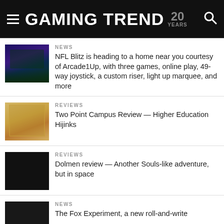GAMING TREND 20 YEARS
NEWS
NFL Blitz is heading to a home near you courtesy of Arcade1Up, with three games, online play, 49-way joystick, a custom riser, light up marquee, and more
REVIEWS
Two Point Campus Review — Higher Education Hijinks
REVIEWS
Dolmen review — Another Souls-like adventure, but in space
NEWS
The Fox Experiment, a new roll-and-write